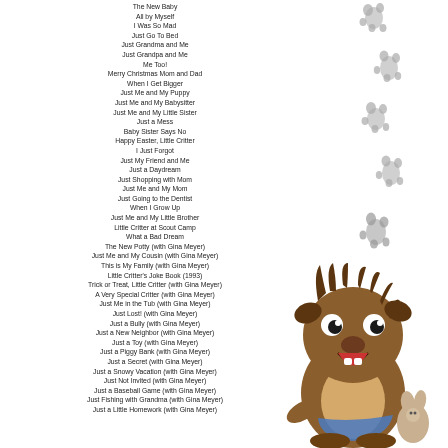The New Baby
All by Myself
I Was So Mad
Just Go To Bed
Just Grandma and Me
Just Grandpa and Me
Me Too!
Merry Christmas Mom and Dad
When I Get Bigger
Just Me and My Puppy
Just Me and My Babysitter
Just Me and My Little Sister
Just a Mess
Baby Sister Says No
Happy Easter, Little Critter
I Just Forgot
Just My Friend and Me
Just a Daydream
Just Shopping with Mom
Just Me and My Mom
Just Going to the Dentist
When I Grow Up
Just Me and My Little Brother
Little Critter at Scout Camp
What a Bad Dream
The New Potty (with Gina Meyer)
Just Me and My Cousin (with Gina Meyer)
This is My Family (with Gina Meyer)
Little Critter's Joke Book (1993)
Trick or Treat, Little Critter (with Gina Meyer)
A Very Special Critter (with Gina Meyer)
Just Me in the Tub (with Gina Meyer)
Just Lost! (with Gina Meyer)
Just a Bully (with Gina Meyer)
Just a New Neighbor (with Gina Meyer)
Just a Toy (with Gina Meyer)
Just a Piggy Bank (with Gina Meyer)
Just a Secret (with Gina Meyer)
Just a Snowy Vacation (with Gina Meyer)
Just Not Invited (with Gina Meyer)
Just a Baseball Game (with Gina Meyer)
Just Fishing with Grandma (with Gina Meyer)
Just a Little Homework (with Gina Meyer)
[Figure (illustration): Cartoon character Little Critter (a fuzzy brown creature) sitting with a stuffed rabbit, smiling with big eyes, with paw prints trailing diagonally across the right side of the page]